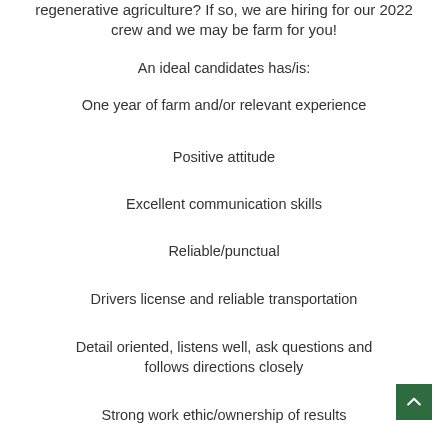regenerative agriculture? If so, we are hiring for our 2022 crew and we may be farm for you!
An ideal candidates has/is:
One year of farm and/or relevant experience
Positive attitude
Excellent communication skills
Reliable/punctual
Drivers license and reliable transportation
Detail oriented, listens well, ask questions and follows directions closely
Strong work ethic/ownership of results